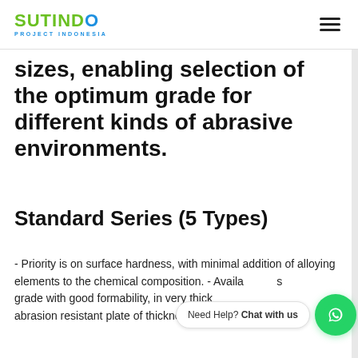SUTINDO PROJECT INDONESIA
sizes, enabling selection of the optimum grade for different kinds of abrasive environments.
Standard Series (5 Types)
- Priority is on surface hardness, with minimal addition of alloying elements to the chemical composition. - Available as a grade with good formability, in very thick abrasion resistant plate of thickness up to